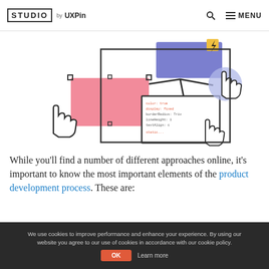STUDIO by UXPin
[Figure (illustration): Illustration showing UI design/code interaction: a pink rectangle with selection handles and a cursor hand, a purple/blue component with a lightning bolt icon, a code snippet panel with a cursor hand, and a circular element with a hand cursor — connected by lines suggesting design-to-code workflow.]
While you'll find a number of different approaches online, it's important to know the most important elements of the product development process. These are:
Step 1: Ideation
We use cookies to improve performance and enhance your experience. By using our website you agree to our use of cookies in accordance with our cookie policy. OK Learn more